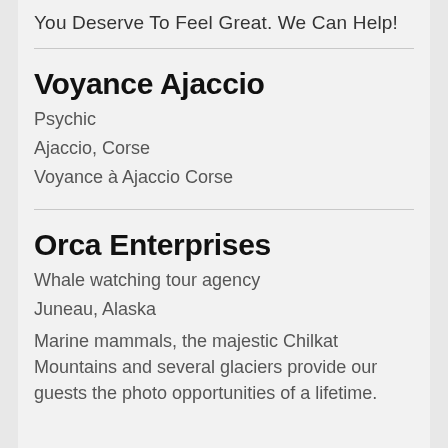You Deserve To Feel Great. We Can Help!
Voyance Ajaccio
Psychic
Ajaccio, Corse
Voyance à Ajaccio Corse
Orca Enterprises
Whale watching tour agency
Juneau, Alaska
Marine mammals, the majestic Chilkat Mountains and several glaciers provide our guests the photo opportunities of a lifetime.